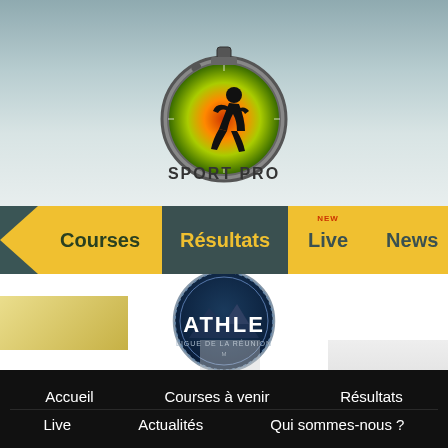[Figure (logo): Sport Pro logo: circular stopwatch icon with green-to-red gradient and runner silhouette, text 'SPORT PRO' below]
[Figure (screenshot): Navigation bar with yellow and dark teal menu items: Courses, Résultats, Live (with NEW badge), News, Qui somm...]
[Figure (logo): Athle Ligue de la Réunion circular badge logo with mountain silhouette]
[Figure (photo): Partial background banner/image visible at bottom of white content area]
Accueil
Courses à venir
Résultats
Live
Actualités
Qui sommes-nous ?
Nous rejoindre
Nous contacter
FAQ / Aide